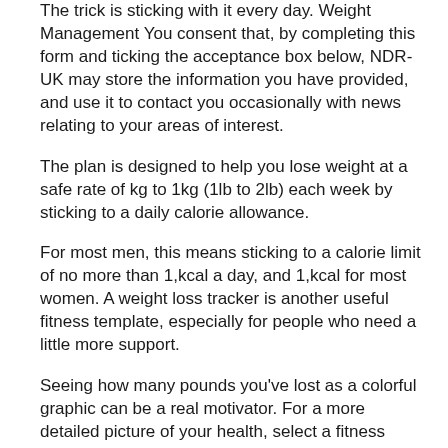The trick is sticking with it every day. Weight Management You consent that, by completing this form and ticking the acceptance box below, NDR-UK may store the information you have provided, and use it to contact you occasionally with news relating to your areas of interest.
The plan is designed to help you lose weight at a safe rate of kg to 1kg (1lb to 2lb) each week by sticking to a daily calorie allowance.
For most men, this means sticking to a calorie limit of no more than 1,kcal a day, and 1,kcal for most women. A weight loss tracker is another useful fitness template, especially for people who need a little more support.
Seeing how many pounds you've lost as a colorful graphic can be a real motivator. For a more detailed picture of your health, select a fitness template that calculates BMI and body fat, or a health template to track your blood.
Weight Management. Why Your Pug's Weight Matters By Kristy Beck | Jan 7, The Pug Diary is the essential guide for pug parents who want their pugs